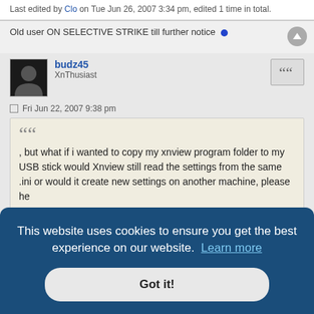Last edited by Clo on Tue Jun 26, 2007 3:34 pm, edited 1 time in total.
Old user ON SELECTIVE STRIKE till further notice
budz45
XnThusiast
Fri Jun 22, 2007 9:38 pm
, but what if i wanted to copy my xnview program folder to my USB stick would Xnview still read the settings from the same .ini or would it create new settings on another machine, please he
This website uses cookies to ensure you get the best experience on our website. Learn more
Got it!